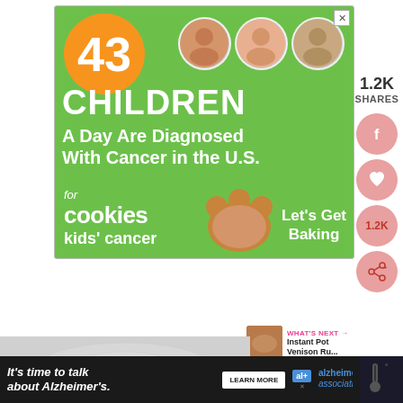[Figure (infographic): Cookies for Kids' Cancer advertisement. Green background with large orange circle showing '43'. Three circular child photos. Text: '43 CHILDREN A Day Are Diagnosed With Cancer in the U.S.' Cookies for kids' cancer logo and gingerbread cookie shape with 'Let's Get Baking' text.]
1.2K
SHARES
[Figure (infographic): Social sharing buttons: Facebook (f), Heart/love, 1.2K count, and share icon. All in pink/salmon color circles.]
[Figure (infographic): WHAT'S NEXT arrow label with thumbnail image and text 'Instant Pot Venison Ru...']
[Figure (photo): Food photo showing prepared dish on a plate, gray-toned background.]
[Figure (infographic): Alzheimer's Association advertisement. Dark background with text: 'It's time to talk about Alzheimer's.' Learn More button, al+ logo, and Alzheimer's association logo.]